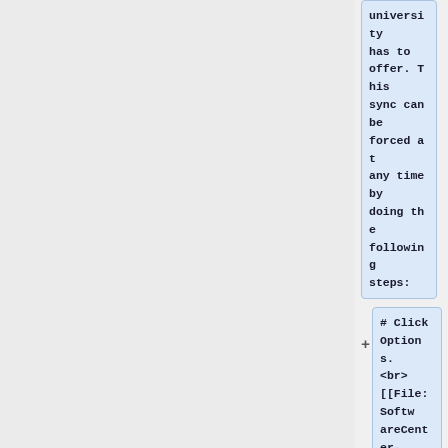university has to offer. This sync can be forced at any time by doing the following steps:
# Click Options.
<br>
[[File:SoftwareCenter-Option.png|150px]]
# Click the drop menu for computer maintenance